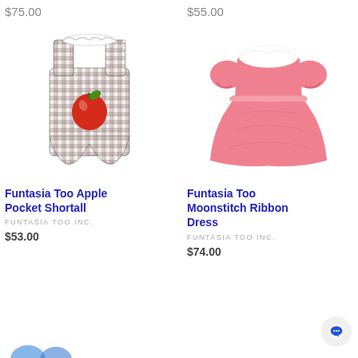$75.00
$55.00
[Figure (photo): Plaid sleeveless baby romper/shortall with red apple applique]
[Figure (photo): Pink short-sleeve baby dress with white Peter Pan collar and white ribbon bows on sides]
Funtasia Too Apple Pocket Shortall
Funtasia Too Moonstitch Ribbon Dress
FUNTASIA TOO INC.
FUNTASIA TOO INC.
$53.00
$74.00